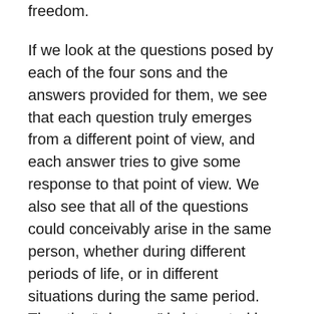freedom.
If we look at the questions posed by each of the four sons and the answers provided for them, we see that each question truly emerges from a different point of view, and each answer tries to give some response to that point of view. We also see that all of the questions could conceivably arise in the same person, whether during different periods of life, or in different situations during the same period. Thus the “wise son” is interested in laws and judgments; the “wicked one” criticizes that which he sees; the “simpleton” is drawn after the action and expresses his curiosity in a most direct fashion, while the fourth son “does not know to ask”, and we must draw out that which exists within him.